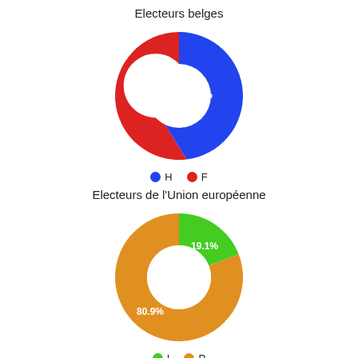[Figure (donut-chart): Electeurs belges]
[Figure (donut-chart): Electeurs de l'Union européenne]